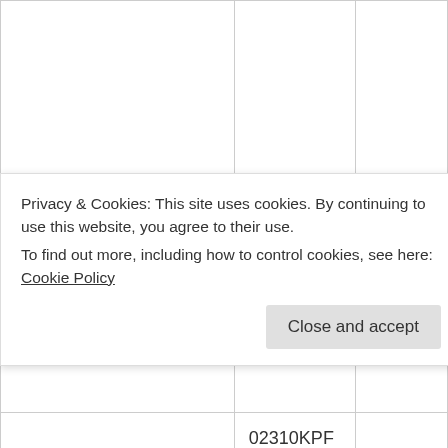|  |  |  |
| --- | --- | --- |
|  |  |  |
| AAU3910 | 02310QUQ | SRAN8.1 |
|  | 02310KPF
02310KPE
02310KPC
02310KPB |  |
|  | 02310GPL |  |
Privacy & Cookies: This site uses cookies. By continuing to use this website, you agree to their use.
To find out more, including how to control cookies, see here: Cookie Policy
Close and accept